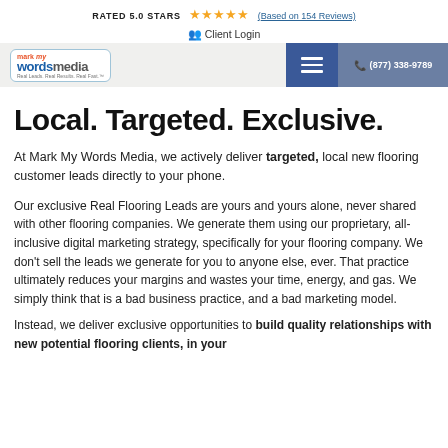RATED 5.0 STARS ★★★★★ (Based on 154 Reviews)
Client Login
[Figure (logo): Mark My Words Media logo with navigation bar including hamburger menu and phone number (877) 338-9789]
Local. Targeted. Exclusive.
At Mark My Words Media, we actively deliver targeted, local new flooring customer leads directly to your phone.
Our exclusive Real Flooring Leads are yours and yours alone, never shared with other flooring companies. We generate them using our proprietary, all-inclusive digital marketing strategy, specifically for your flooring company. We don't sell the leads we generate for you to anyone else, ever. That practice ultimately reduces your margins and wastes your time, energy, and gas. We simply think that is a bad business practice, and a bad marketing model.
Instead, we deliver exclusive opportunities to build quality relationships with new potential flooring clients, in your